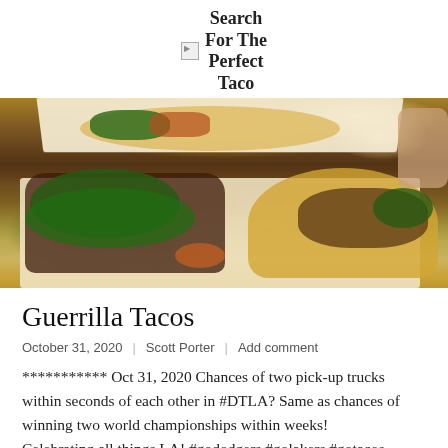Search For The Perfect Taco
[Figure (photo): Close-up photo of tacos in white cardboard containers. The foreground shows tacos topped with cilantro, braised meat, and pickled carrots on corn tortillas. In the background, another taco with cheese and vegetables is visible. A person's hand holds the container.]
Guerrilla Tacos
October 31, 2020  |  Scott Porter  |  Add comment
*********** Oct 31, 2020 Chances of two pick-up trucks within seconds of each other in #DTLA? Same as chances of winning two world championships within weeks! Celebrating all things LA! #gododgers #golakers #gotacos